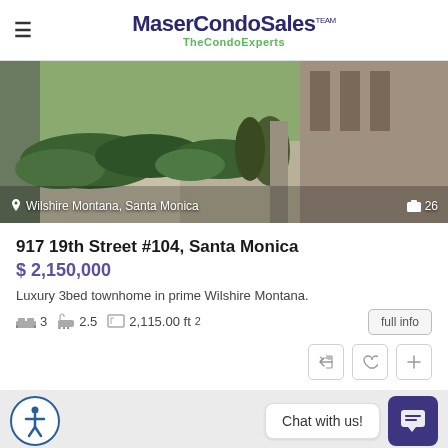MaserCondoSales TheCondoExperts
[Figure (photo): Exterior landscaping photo of condo building at Wilshire Montana, Santa Monica. Shows green shrubs, pathway, and building facade.]
917 19th Street #104, Santa Monica
$ 2,150,000
Luxury 3bed townhome in prime Wilshire Montana.
3 bedrooms, 2.5 bathrooms, 2,115.00 ft²
Chat with us!